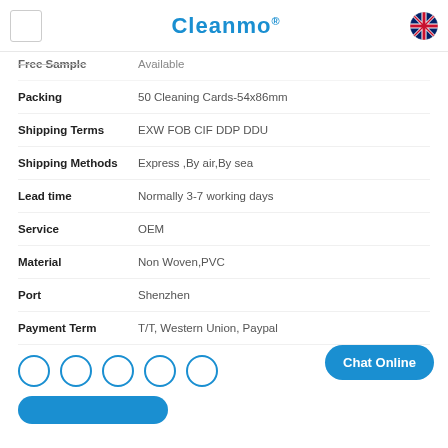Cleanmo®
Free Sample | Available
Packing | 50 Cleaning Cards-54x86mm
Shipping Terms | EXW FOB CIF DDP DDU
Shipping Methods | Express ,By air,By sea
Lead time | Normally 3-7 working days
Service | OEM
Material | Non Woven,PVC
Port | Shenzhen
Payment Term | T/T, Western Union, Paypal
[Figure (other): Five circular social media or sharing icons in a row]
Chat Online